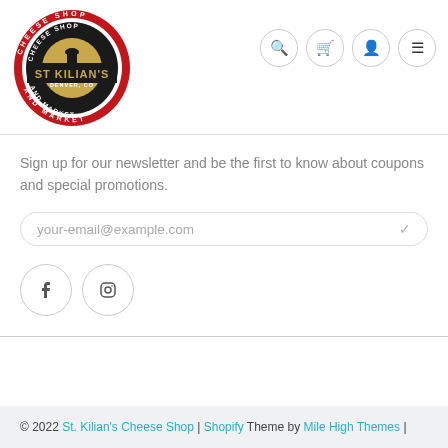[Figure (logo): St. Kilian's Cheese Shop and Market Denver, CO circular logo with red, black, and gold colors]
Sign up for our newsletter and be the first to know about coupons and special promotions.
your-email@example.com
[Figure (other): Facebook and Instagram social media icons as circular outline buttons]
© 2022 St. Kilian's Cheese Shop | Shopify Theme by Mile High Themes |